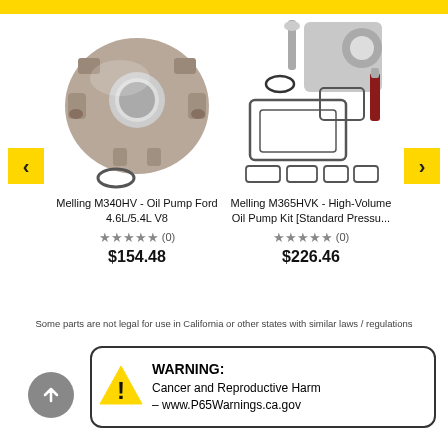[Figure (photo): Melling M340HV Oil Pump for Ford 4.6L/5.4L V8 - metallic engine oil pump component with o-ring]
Melling M340HV - Oil Pump Ford 4.6L/5.4L V8
★★★★★ (0)
$154.48
[Figure (photo): Melling M365HVK High-Volume Oil Pump Kit [Standard Pressu... - kit with gaskets, seal, bolt, and sealant tube]
Melling M365HVK - High-Volume Oil Pump Kit [Standard Pressu...
★★★★★ (0)
$226.46
Some parts are not legal for use in California or other states with similar laws / regulations
WARNING: Cancer and Reproductive Harm – www.P65Warnings.ca.gov